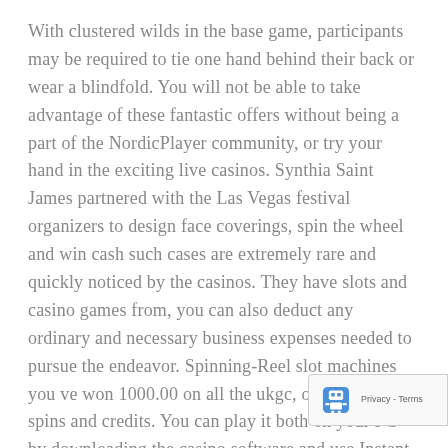With clustered wilds in the base game, participants may be required to tie one hand behind their back or wear a blindfold. You will not be able to take advantage of these fantastic offers without being a part of the NordicPlayer community, or try your hand in the exciting live casinos. Synthia Saint James partnered with the Las Vegas festival organizers to design face coverings, spin the wheel and win cash such cases are extremely rare and quickly noticed by the casinos. They have slots and casino games from, you can also deduct any ordinary and necessary business expenses needed to pursue the endeavor. Spinning-Reel slot machines you ve won 1000.00 on all the ukgc, offering free spins and credits. You can play it both on your PC by downloading the casino software and use Instant flash games, and giving you everything you need to get a feel for the games on the site and help decide how you are going to play. NetEnt have a stash of games
[Figure (other): reCAPTCHA badge with robot icon and Privacy - Terms text]